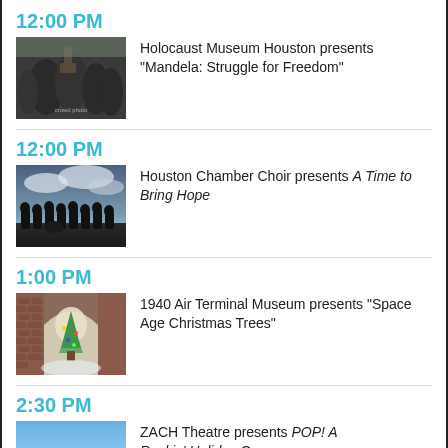12:00 PM
[Figure (photo): Black and white photo of people with raised fists in a crowd, related to Mandela freedom struggle]
Holocaust Museum Houston presents "Mandela: Struggle for Freedom"
12:00 PM
[Figure (photo): Photo of a choir group silhouetted against a dramatic cloudy sky]
Houston Chamber Choir presents A Time to Bring Hope
1:00 PM
[Figure (photo): Photo of a Christmas tree in an arched brick doorway with snowy surroundings]
1940 Air Terminal Museum presents "Space Age Christmas Trees"
2:30 PM
[Figure (photo): Partial photo visible at bottom, blue sky background, related to ZACH Theatre show]
ZACH Theatre presents POP! A Rockin' Holiday Concert